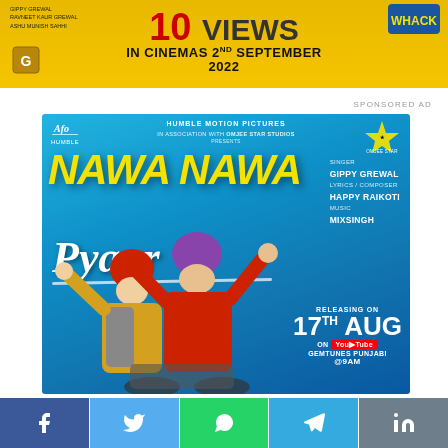[Figure (illustration): Movie promotional banner in yellow background showing '10 VIEWS' text in red, with text 'IN CINEMAS 2ND SEPTEMBER 2022' in bold black. Small text on left lists names: GIPPY GREWAL, RAVNEET KAUR GREWAL, ASHU MUNISH SAHHI. Logo of production company on left.]
SPONSORED AD
[Figure (photo): Movie poster for 'NAWA NAWA PYAAR' on a blue background. Features two men wearing turbans on a motorcycle, arms raised and waving. Text shows: HUMBLE MOTION PICTURES IN ASSOCIATION WITH OMJEE STAR STUDIOS PRESENTS. Title 'NAWA NAWA' in large yellow bold italic letters, 'Pyaar' in white cursive. Credits: SINGER GIPPY GREWAL, LYRICS/COMPOSER HAPPY RAIKOTI, MUSIC MIXSINGH. RELEASING ON 17TH AUG ON YouTube GEMTUNES PUNJABI @9AM. Logos of Humble and Omjee Star in corners.]
[Figure (infographic): Social media share bar at the bottom with five buttons: Facebook (dark blue), Twitter (light blue), WhatsApp (green), Telegram (sky blue), LinkedIn (grey-blue). Each shows the respective platform icon in white.]